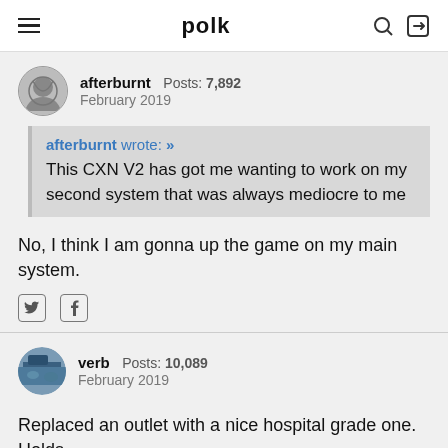polk
afterburnt  Posts: 7,892  February 2019
afterburnt wrote: »
This CXN V2 has got me wanting to work on my second system that was always mediocre to me
No, I think I am gonna up the game on my main system.
[Figure (other): Twitter and Facebook share icons]
verb  Posts: 10,089  February 2019
Replaced an outlet with a nice hospital grade one. Holds